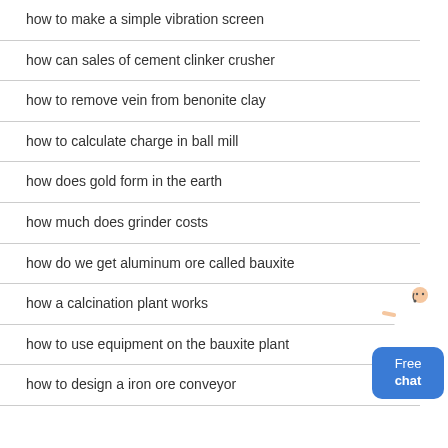how to make a simple vibration screen
how can sales of cement clinker crusher
how to remove vein from benonite clay
how to calculate charge in ball mill
how does gold form in the earth
how much does grinder costs
how do we get aluminum ore called bauxite
how a calcination plant works
how to use equipment on the bauxite plant
how to design a iron ore conveyor